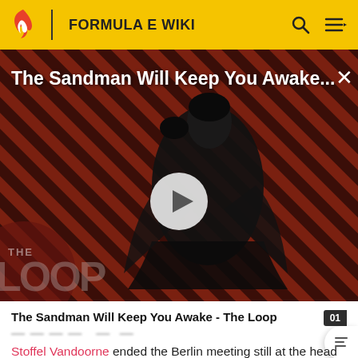FORMULA E WIKI
[Figure (screenshot): Video thumbnail for 'The Sandman Will Keep You Awake - The Loop' featuring a figure in black against a red diagonal stripe background with The Loop watermark and a play button overlay]
The Sandman Will Keep You Awake - The Loop
Stoffel Vandoorne ended the Berlin meeting still at the head of the Championship hunt, the Belgian pilot having